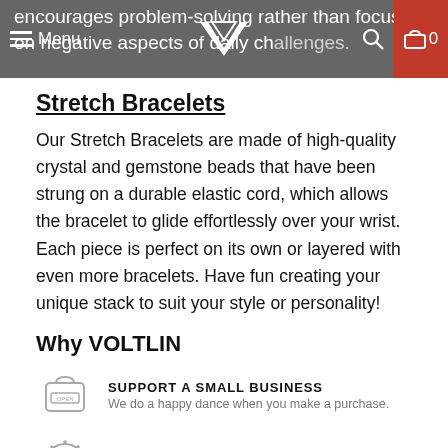encourages problem-solving rather than focusing on negative aspects of daily challenges.
Stretch Bracelets
Our Stretch Bracelets are made of high-quality crystal and gemstone beads that have been strung on a durable elastic cord, which allows the bracelet to glide effortlessly over your wrist. Each piece is perfect on its own or layered with even more bracelets. Have fun creating your unique stack to suit your style or personality!
Why VOLTLIN
SUPPORT A SMALL BUSINESS — We do a happy dance when you make a purchase.
SATISFACTION GUARANTEED — Over 1,200+ verified 5 star reviews.
ETHICAL for DONATION (partial, cut off)